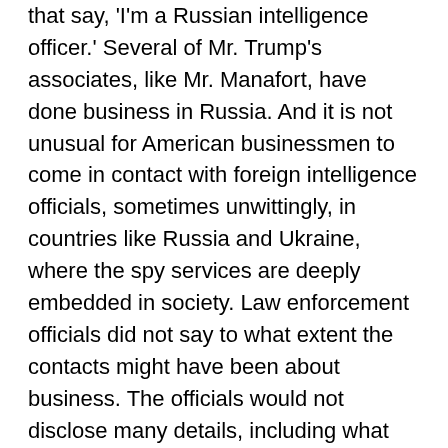that say, 'I'm a Russian intelligence officer.' Several of Mr. Trump's associates, like Mr. Manafort, have done business in Russia. And it is not unusual for American businessmen to come in contact with foreign intelligence officials, sometimes unwittingly, in countries like Russia and Ukraine, where the spy services are deeply embedded in society. Law enforcement officials did not say to what extent the contacts might have been about business. The officials would not disclose many details, including what was discussed on the calls, the identity of the Russian intelligence officials who participated, and how many of Mr. Trump's advisers were talking to the Russians. It is also unclear whether the conversations had anything to do with Mr. Trump himself. A report from American intelligence agencies that